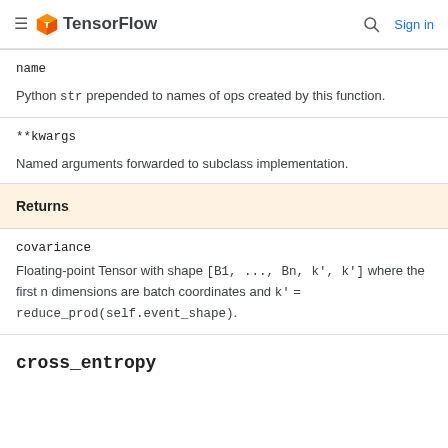TensorFlow — Sign in
| Parameter | Description |
| --- | --- |
| name | Python str prepended to names of ops created by this function. |
| **kwargs | Named arguments forwarded to subclass implementation. |
Returns
| Return | Description |
| --- | --- |
| covariance | Floating-point Tensor with shape [B1, ..., Bn, k', k'] where the first n dimensions are batch coordinates and k' = reduce_prod(self.event_shape). |
cross_entropy